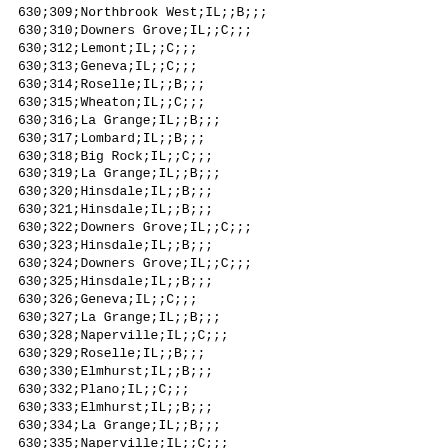630;309;Northbrook West;IL;;B;;;
630;310;Downers Grove;IL;;C;;;
630;312;Lemont;IL;;C;;;
630;313;Geneva;IL;;C;;;
630;314;Roselle;IL;;B;;;
630;315;Wheaton;IL;;C;;;
630;316;La Grange;IL;;B;;;
630;317;Lombard;IL;;B;;;
630;318;Big Rock;IL;;C;;;
630;319;La Grange;IL;;B;;;
630;320;Hinsdale;IL;;B;;;
630;321;Hinsdale;IL;;B;;;
630;322;Downers Grove;IL;;C;;;
630;323;Hinsdale;IL;;B;;;
630;324;Downers Grove;IL;;C;;;
630;325;Hinsdale;IL;;B;;;
630;326;Geneva;IL;;C;;;
630;327;La Grange;IL;;B;;;
630;328;Naperville;IL;;C;;;
630;329;Roselle;IL;;B;;;
630;330;Elmhurst;IL;;B;;;
630;332;Plano;IL;;C;;;
630;333;Elmhurst;IL;;B;;;
630;334;La Grange;IL;;B;;;
630;335;Naperville;IL;;C;;;
630;336;Schaumburg;IL;;B;;;
630;337;Schaumburg;IL;;B;;;
630;338;Geneva;IL;;C;;;
630;339;Roselle;IL;;B;;;
630;340;Aurora;IL;;C;;;